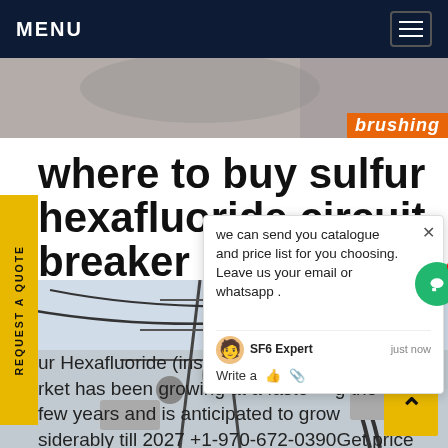MENU
[Figure (photo): Partial photo visible behind nav bar, with orange brand text overlay reading 'brushing']
where to buy sulfur hexafluoride circuit breaker Libya
REQUEST A QUOTE
ur Hexafluoride (insulating gas) circuit breaker market has been growing at a faster rate during the few years and is anticipated to grow considerably till 2027 +1-970-672-0390Get price
[Figure (screenshot): Chat popup with message: we can send you catalogue and price list for you choosing. Leave us your email or whatsapp. SF6 Expert just now. Write a message area with like and attachment icons. Green chat bubble icon with badge showing 1.]
[Figure (photo): Photo of electrical transmission tower substation with high voltage cables against sky]